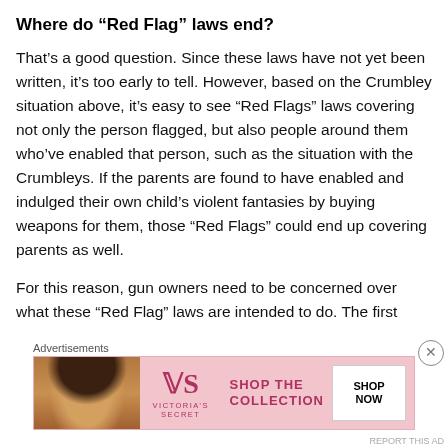Where do “Red Flag” laws end?
That’s a good question. Since these laws have not yet been written, it’s too early to tell. However, based on the Crumbley situation above, it’s easy to see “Red Flags” laws covering not only the person flagged, but also people around them who’ve enabled that person, such as the situation with the Crumbleys. If the parents are found to have enabled and indulged their own child’s violent fantasies by buying weapons for them, those “Red Flags” could end up covering parents as well.
For this reason, gun owners need to be concerned over what these “Red Flag” laws are intended to do. The first
[Figure (advertisement): Victoria's Secret advertisement banner with a woman's photo on the left, VS logo, 'SHOP THE COLLECTION' text, and 'SHOP NOW' button on the right against a pink background.]